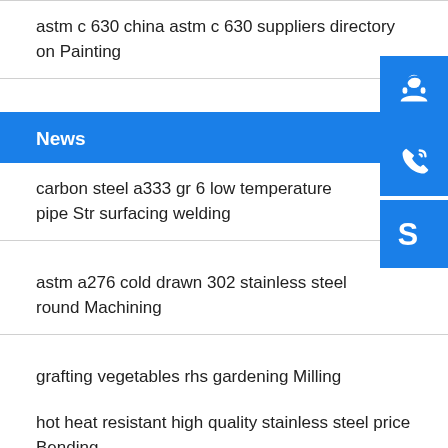astm c 630 china astm c 630 suppliers directory on Painting
News
carbon steel a333 gr 6 low temperature pipe Str surfacing welding
astm a276 cold drawn 302 stainless steel round Machining
grafting vegetables rhs gardening Milling
hot heat resistant high quality stainless steel price Bending
p235gh kberbschlagarbeit Cutting